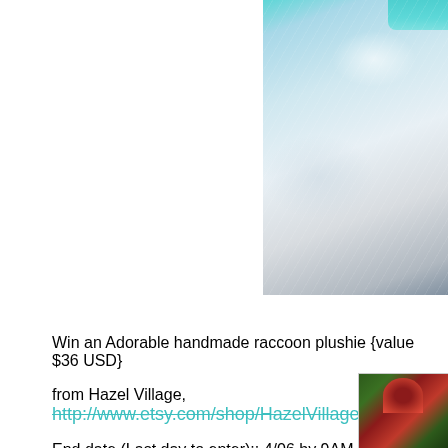[Figure (photo): Close-up photo of a white textured quilted fabric with a teal/blue object at the top right corner, likely a plushie or stuffed animal accessory]
Win an Adorable handmade raccoon plushie {value $36 USD} from Hazel Village, http://www.etsy.com/shop/HazelVillage
End date (Last day to enter):: 4/06 by 9AM EST
Open to (Restrictions):: International
[Figure (photo): Partial photo at bottom right, appears to show a craft or decorative item with red and green colors]